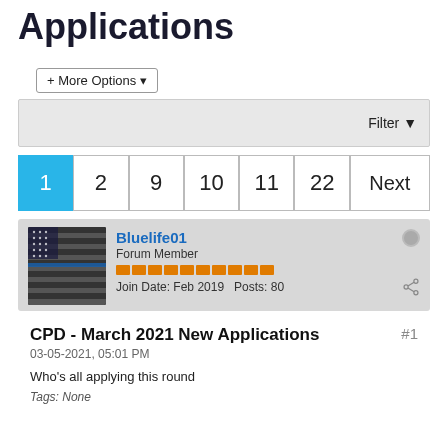Applications
+ More Options
Filter
1 2 9 10 11 22 Next
Bluelife01
Forum Member
Join Date: Feb 2019   Posts: 80
CPD - March 2021 New Applications
03-05-2021, 05:01 PM
Who's all applying this round
Tags: None